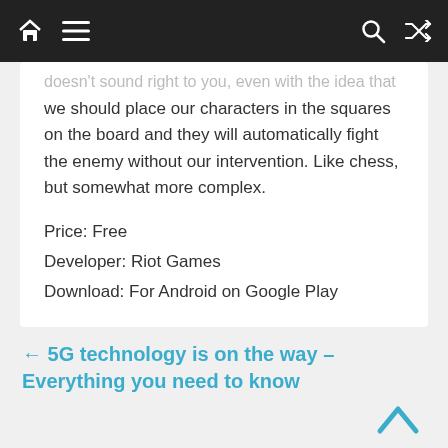Navigation bar with home, menu, search, shuffle icons
doesn't sound right to you, even with the idea that we should place our characters in the squares on the board and they will automatically fight the enemy without our intervention. Like chess, but somewhat more complex.
Price: Free
Developer: Riot Games
Download: For Android on Google Play
← 5G technology is on the way – Everything you need to know
15 Android games you can try on your mobile